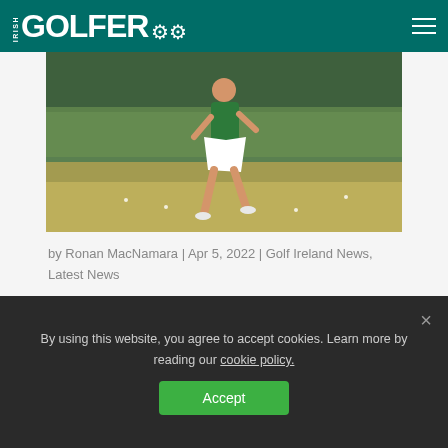IRISH GOLFER
[Figure (photo): A female golfer in a green top and white skirt swinging a golf club on a grassy fairway]
by Ronan MacNamara | Apr 5, 2022 | Golf Ireland News, Latest News
Anna Foster rounded off her regular season with a runner-up finish at the Auburn Individual while Julie McSo...
By using this website, you agree to accept cookies. Learn more by reading our cookie policy.